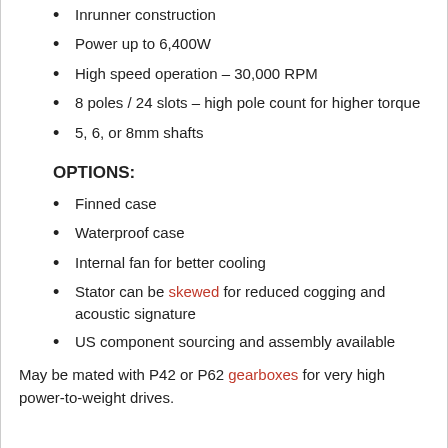Inrunner construction
Power up to 6,400W
High speed operation – 30,000 RPM
8 poles / 24 slots – high pole count for higher torque
5, 6, or 8mm shafts
OPTIONS:
Finned case
Waterproof case
Internal fan for better cooling
Stator can be skewed for reduced cogging and acoustic signature
US component sourcing and assembly available
May be mated with P42 or P62 gearboxes for very high power-to-weight drives.